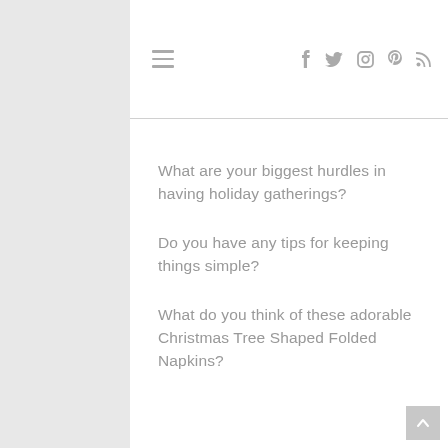≡  f  t  ○  ℗  RSS
What are your biggest hurdles in having holiday gatherings?
Do you have any tips for keeping things simple?
What do you think of these adorable Christmas Tree Shaped Folded Napkins?